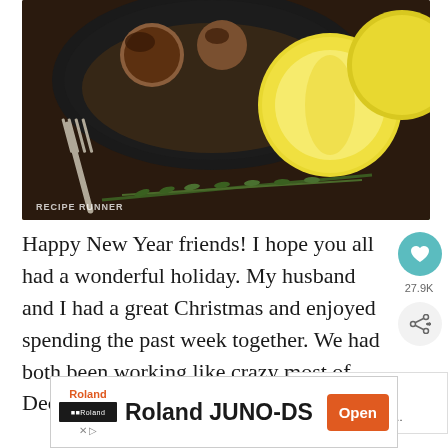[Figure (photo): Food photography showing a cast iron skillet with meatballs or chicken in sauce, accompanied by a fork, lemon halves, and fresh rosemary sprigs on a dark wooden surface. Watermark reads RECIPE RUNNER.]
Happy New Year friends! I hope you all had a wonderful holiday. My husband and I had a great Christmas and enjoyed spending the past week together. We had both been working like crazy most of December and it didn't leave us ti...
[Figure (infographic): WHAT'S NEXT arrow label with thumbnail of food and text 'Lemon Rosemary...']
[Figure (screenshot): Advertisement banner: Roland JUNO-DS with Open button]